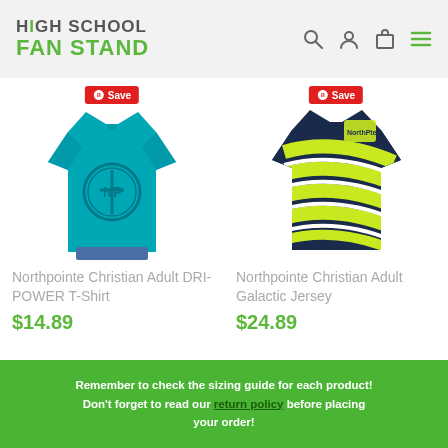[Figure (logo): High School Fan Stand logo with green text]
[Figure (photo): Northpointe Christian Adult DRI-POWER T-Shirt in teal with circular NP logo, worn by male model]
[Figure (photo): Northpointe Christian Adult Galactic Jersey in lime green and navy stripes with Northpointe logo]
Northpointe Christian Adult DRI-POWER T-Shirt
$14.89
Northpointe Christian Adult Galactic Jersey
$24.89
Remember to check the sizing guide for each product! Don't forget to read our return policy before placing your order!